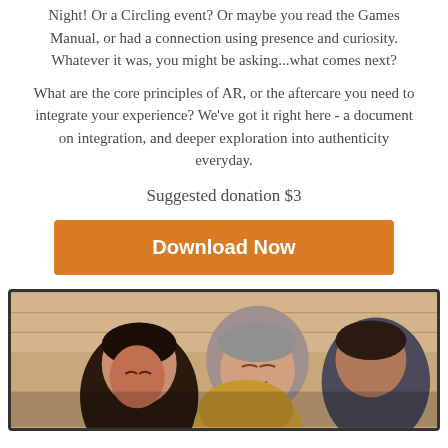Night! Or a Circling event? Or maybe you read the Games Manual, or had a connection using presence and curiosity. Whatever it was, you might be asking...what comes next?
What are the core principles of AR, or the aftercare you need to integrate your experience? We've got it right here - a document on integration, and deeper exploration into authenticity everyday.
Suggested donation $3
[Figure (other): Orange 'Download Now' button]
[Figure (photo): Group of people huddled together closely, some with eyes closed, in a warm group embrace. Background appears to be a wooden wall.]